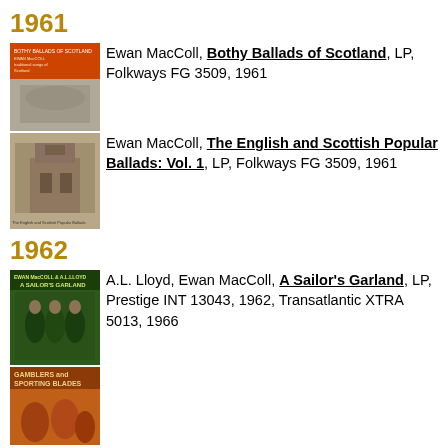1961
[Figure (photo): Album cover for Bothy Ballads of Scotland, orange/gray cover with text]
Ewan MacColl, Bothy Ballads of Scotland, LP, Folkways FG 3509, 1961
[Figure (photo): Album cover for The English and Scottish Popular Ballads Vol. 1, sepia toned building]
Ewan MacColl, The English and Scottish Popular Ballads: Vol. 1, LP, Folkways FG 3509, 1961
1962
[Figure (photo): Album cover A Sailor's Garland, green cover with sailors]
A.L. Lloyd, Ewan MacColl, A Sailor's Garland, LP, Prestige INT 13043, 1962, Transatlantic XTRA 5013, 1966
[Figure (photo): Album cover Gamblers and Sporting Blades, orange/brown cover]